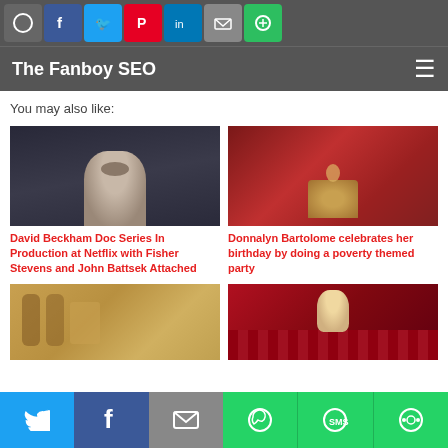The Fanboy SEO
You may also like:
[Figure (photo): Photo of David Beckham, a man with a beard in a dark shirt against a grey background]
David Beckham Doc Series In Production at Netflix with Fisher Stevens and John Battsek Attached
[Figure (photo): Photo of Donnalyn Bartolome holding a birthday cake with candles, against a red/rustic background]
Donnalyn Bartolome celebrates her birthday by doing a poverty themed party
[Figure (photo): Photo of people in a brewery or industrial kitchen setting with golden/warm tones]
[Figure (photo): Photo of a young woman at a stadium with red stadium seats in the background]